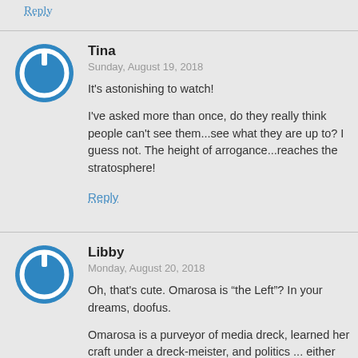Reply
[Figure (illustration): Blue circular power button icon avatar for user Tina]
Tina
Sunday, August 19, 2018
It's astonishing to watch!

I've asked more than once, do they really think people can't see them...see what they are up to? I guess not. The height of arrogance...reaches the stratosphere!
Reply
[Figure (illustration): Blue circular power button icon avatar for user Libby]
Libby
Monday, August 20, 2018
Oh, that's cute. Omarosa is “the Left”? In your dreams, doofus.

Omarosa is a purveyor of media dreck, learned her craft under a dreck-meister, and politics ... either left or right ... play no part in her game.